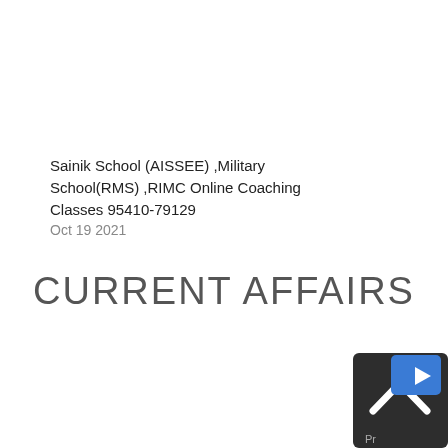Sainik School (AISSEE) ,Military School(RMS) ,RIMC Online Coaching Classes 95410-79129
Oct 19 2021
CURRENT AFFAIRS